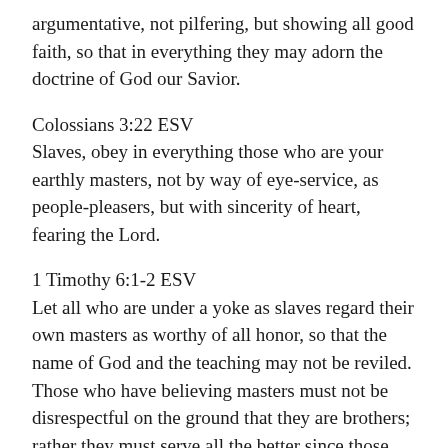argumentative, not pilfering, but showing all good faith, so that in everything they may adorn the doctrine of God our Savior.
Colossians 3:22 ESV
Slaves, obey in everything those who are your earthly masters, not by way of eye-service, as people-pleasers, but with sincerity of heart, fearing the Lord.
1 Timothy 6:1-2 ESV
Let all who are under a yoke as slaves regard their own masters as worthy of all honor, so that the name of God and the teaching may not be reviled. Those who have believing masters must not be disrespectful on the ground that they are brothers; rather they must serve all the better since those who benefit by their good service are believers and beloved. Teach and urge these things.
Ephesians 6:9